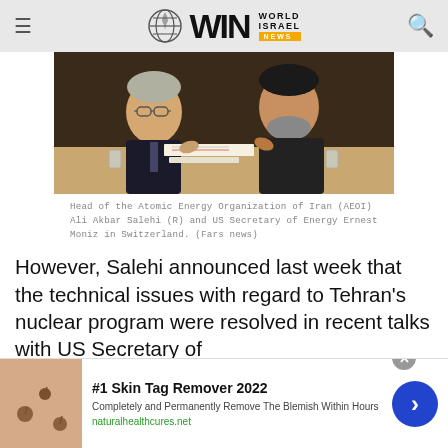WIN World Israel News
[Figure (photo): Two men sitting at a table in discussion, reviewing documents. One older man with glasses on the left, one man with beard on the right, in a formal setting.]
Head of the Atomic Energy Organization of Iran (AEOI) Ali Akbar Salehi (R) and US Secretary of Energy Ernest Moniz in Switzerland. (Fars news)
However, Salehi announced last week that the technical issues with regard to Tehran's nuclear program were resolved in recent talks with US Secretary of
[Figure (screenshot): Advertisement banner: #1 Skin Tag Remover 2022. Completely and Permanently Remove The Blemish Within Hours. naturalhealthcures.net]